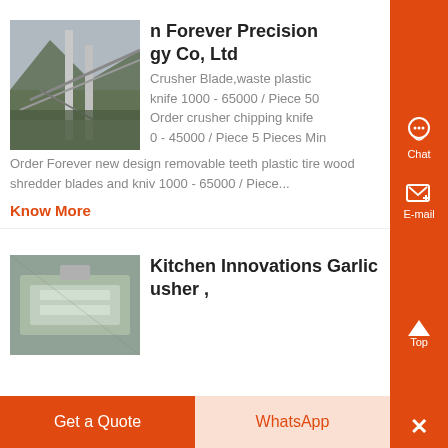[Figure (photo): Industrial conveyor or chute structure on a hillside, outdoor photograph]
n Forever Precision gy Co, Ltd
Crusher Blade,waste plastic knife 1000 - 65000 / Piece 50 Order crusher chipping knife 0 - 45000 / Piece 5 Pieces Min Order Forever new design removable teeth plastic tire wood shredder blades and kniv 1000 - 65000 / Piece...
Know More
[Figure (photo): Industrial equipment or kitchen appliance photo]
Kitchen Innovations Garlic usher ,